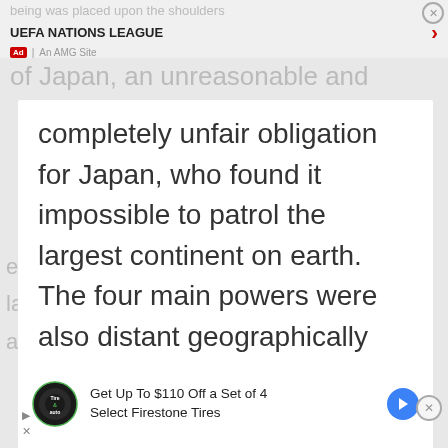UEFA NATIONS LEAGUE
completely unfair obligation for Japan, who found it impossible to patrol the largest continent on earth. The four main powers were also distant geographically from the rest of the globe, with three powers concentrated on one small continent, and the other power being an island nation with no
[Figure (screenshot): Bottom advertisement banner: Get Up To $110 Off a Set of 4 Select Firestone Tires, with Firestone logo and blue navigation arrow]